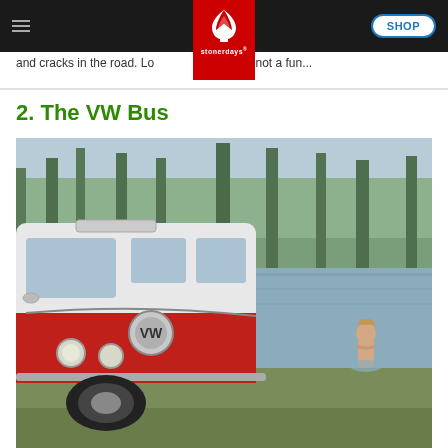stonerdays
and cracks in the road. Lo... oil pan is not a fun...
2. The VW Bus
[Figure (photo): A classic red and white Volkswagen Bus (VW Type 2) parked by a lake or river, with trees in the background and a young woman standing in the water beside it.]